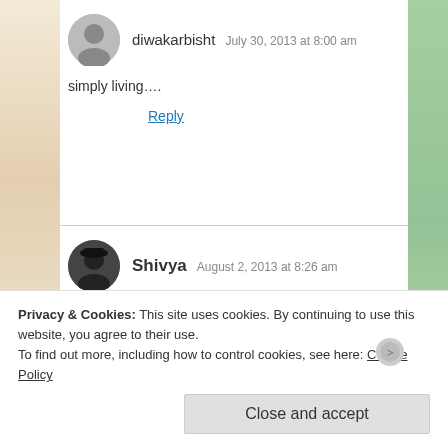diwakarbisht   July 30, 2013 at 8:00 am
simply living….
Reply
Shivya   August 2, 2013 at 8:26 am
The perpetual conflict of being and belonging.
You're not the only one, my friend.
Reply
Privacy & Cookies: This site uses cookies. By continuing to use this website, you agree to their use.
To find out more, including how to control cookies, see here: Cookie Policy
Close and accept